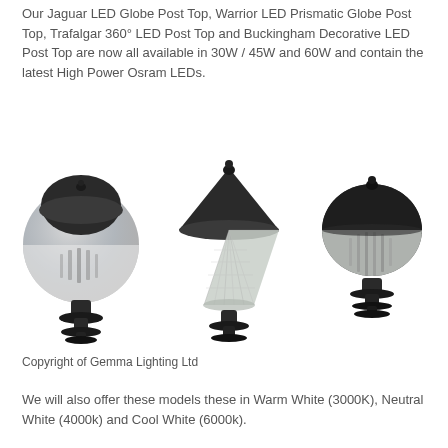Our Jaguar LED Globe Post Top, Warrior LED Prismatic Globe Post Top, Trafalgar 360° LED Post Top and Buckingham Decorative LED Post Top are now all available in 30W / 45W and 60W and contain the latest High Power Osram LEDs.
[Figure (photo): Three decorative LED post-top luminaires shown side by side: a globe-style lamp (Jaguar/Buckingham style), a prismatic conical lamp (Warrior style), and a half-globe lamp. All are dark/black housing with clear prismatic diffusers.]
Copyright of Gemma Lighting Ltd
We will also offer these models these in Warm White (3000K), Neutral White (4000k) and Cool White (6000k).